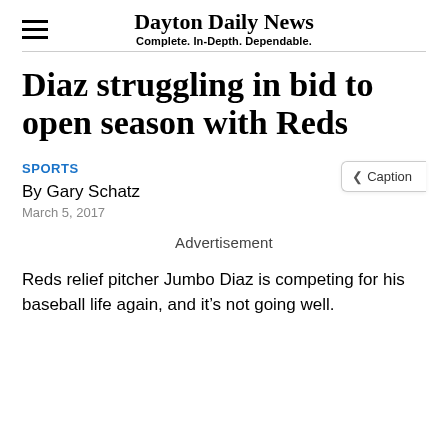Dayton Daily News
Complete. In-Depth. Dependable.
Diaz struggling in bid to open season with Reds
SPORTS
By Gary Schatz
March 5, 2017
Advertisement
Reds relief pitcher Jumbo Diaz is competing for his baseball life again, and it’s not going well.